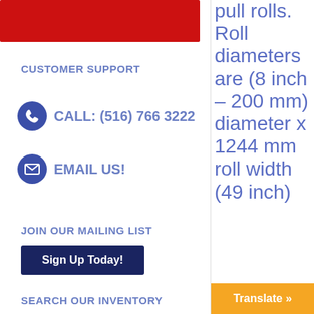CUSTOMER SUPPORT
CALL: (516) 766 3222
EMAIL US!
JOIN OUR MAILING LIST
Sign Up Today!
SEARCH OUR INVENTORY
pull rolls. Roll diameters are (8 inch – 200 mm) diameter x 1244 mm roll width (49 inch)
Translate »